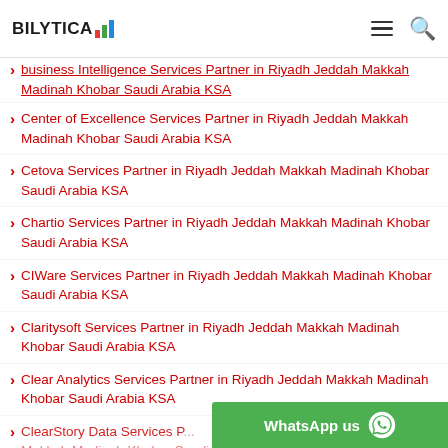BILYTICA [logo] — navigation menu
Business Intelligence Services Partner in Riyadh Jeddah Makkah Madinah Khobar Saudi Arabia KSA
Center of Excellence Services Partner in Riyadh Jeddah Makkah Madinah Khobar Saudi Arabia KSA
Cetova Services Partner in Riyadh Jeddah Makkah Madinah Khobar Saudi Arabia KSA
Chartio Services Partner in Riyadh Jeddah Makkah Madinah Khobar Saudi Arabia KSA
CIWare Services Partner in Riyadh Jeddah Makkah Madinah Khobar Saudi Arabia KSA
Claritysoft Services Partner in Riyadh Jeddah Makkah Madinah Khobar Saudi Arabia KSA
Clear Analytics Services Partner in Riyadh Jeddah Makkah Madinah Khobar Saudi Arabia KSA
ClearStory Data Services Partner in Riyadh Jeddah Makkah Madinah Khobar Saudi Arabia KSA